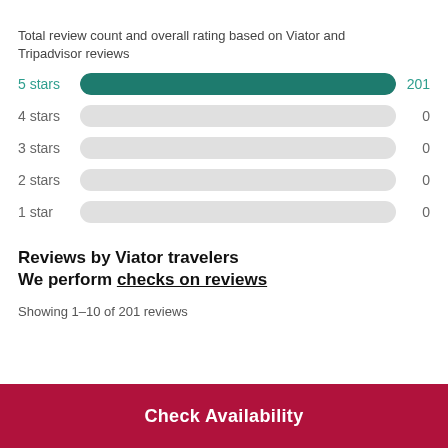Total review count and overall rating based on Viator and Tripadvisor reviews
[Figure (bar-chart): Star rating distribution]
Reviews by Viator travelers
We perform checks on reviews
Showing 1-10 of 201 reviews
Check Availability